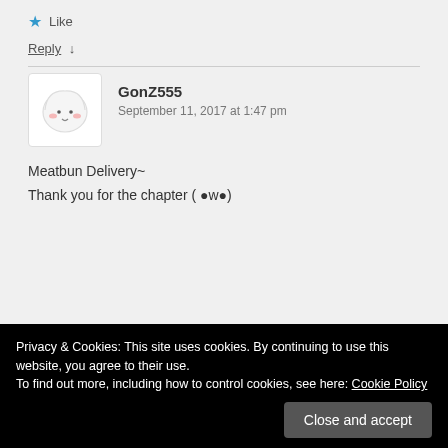★ Like
Reply ↓
GonZ555
September 11, 2017 at 1:47 pm
Meatbun Delivery~
Thank you for the chapter ( ●w●)
Privacy & Cookies: This site uses cookies. By continuing to use this website, you agree to their use.
To find out more, including how to control cookies, see here: Cookie Policy